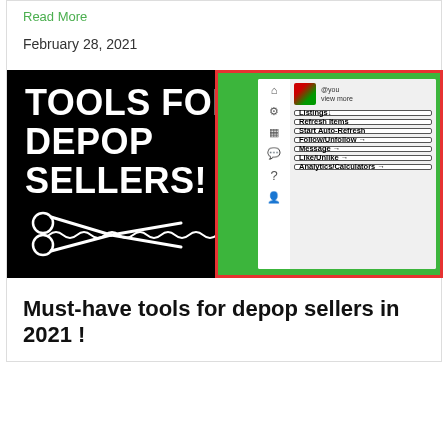Read More
February 28, 2021
[Figure (screenshot): Promotional image for 'Tools for Depop Sellers!' with black background on left showing white bold text and scissors graphic, and right side showing a green-bordered phone screenshot of a Depop seller tool interface with buttons: Listings, Refresh Items, Start Auto-Refresh, Follow/Unfollow, Message, Like/Unlike, Analytics/Calculators]
Must-have tools for depop sellers in 2021 !